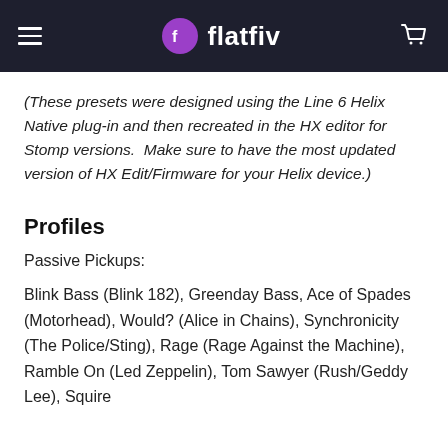flatfiv
(These presets were designed using the Line 6 Helix Native plug-in and then recreated in the HX editor for Stomp versions.  Make sure to have the most updated version of HX Edit/Firmware for your Helix device.)
Profiles
Passive Pickups:
Blink Bass (Blink 182), Greenday Bass, Ace of Spades (Motorhead), Would? (Alice in Chains), Synchronicity (The Police/Sting), Rage (Rage Against the Machine), Ramble On (Led Zeppelin), Tom Sawyer (Rush/Geddy Lee), Squire